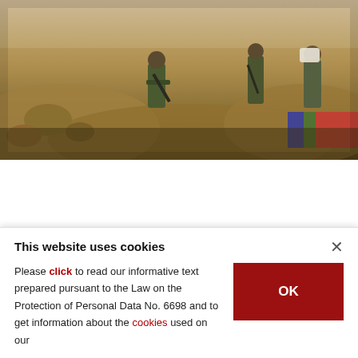[Figure (photo): Iranian-backed Shiite militias fighting against ISIS militants. Soldiers in camouflage uniforms on a sandy desert terrain.]
Iranian-backed Shiite militias fighting against ISIS militants.
BY DAILY SABAH WITH WIRES
JUN 10, 2015 12:00 AM
The Obama administration is preparing to open a
This website uses cookies
Please click to read our informative text prepared pursuant to the Law on the Protection of Personal Data No. 6698 and to get information about the cookies used on our